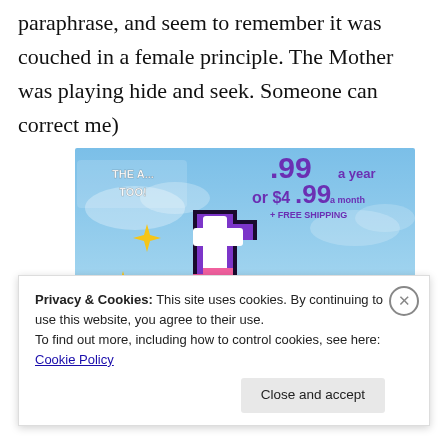paraphrase, and seem to remember it was couched in a female principle. The Mother was playing hide and seek. Someone can correct me)
[Figure (illustration): Tumblr Ad-Free advertisement banner showing the Tumblr 't' logo in pink/purple with gold sparkle stars on a blue sky background. Text shows pricing: '.99 a year or $4.99 a month + FREE SHIPPING' and 'TUMBLR AD-FREE' at the bottom.]
Privacy & Cookies: This site uses cookies. By continuing to use this website, you agree to their use.
To find out more, including how to control cookies, see here: Cookie Policy
Close and accept